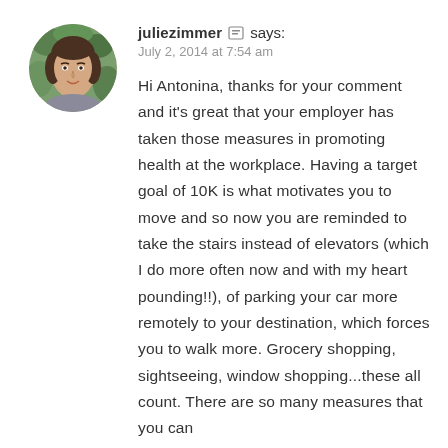[Figure (photo): Circular avatar photo of a woman (juliezimmer) with brown hair, wearing a gray top, in front of a leafy background.]
juliezimmer  says:
July 2, 2014 at 7:54 am
Hi Antonina, thanks for your comment and it's great that your employer has taken those measures in promoting health at the workplace. Having a target goal of 10K is what motivates you to move and so now you are reminded to take the stairs instead of elevators (which I do more often now and with my heart pounding!!), of parking your car more remotely to your destination, which forces you to walk more. Grocery shopping, sightseeing, window shopping...these all count. There are so many measures that you can